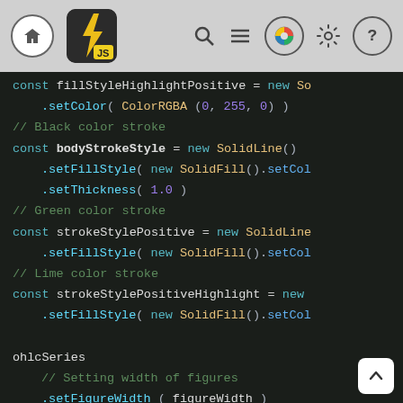[Figure (screenshot): Dark-themed JavaScript code editor (LightningChart JS) showing code for fillStyleHighlightPositive, bodyStrokeStyle, strokeStylePositive, strokeStylePositiveHighlight, and ohlcSeries with a top navigation bar including home, logo, search, menu, color picker, settings, and help icons.]
const fillStyleHighlightPositive = new So
    .setColor( ColorRGBA (0, 255, 0) )
// Black color stroke
const bodyStrokeStyle = new SolidLine()
    .setFillStyle( new SolidFill().setCol
    .setThickness( 1.0 )
// Green color stroke
const strokeStylePositive = new SolidLine
    .setFillStyle( new SolidFill().setCol
// Lime color stroke
const strokeStylePositiveHighlight = new
    .setFillStyle( new SolidFill().setCol

ohlcSeries
    // Setting width of figures
    .setFigureWidth ( figureWidth )